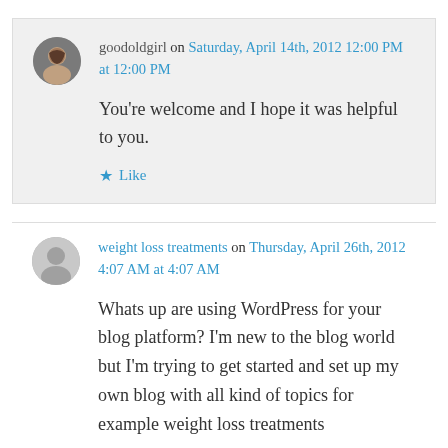goodoldgirl on Saturday, April 14th, 2012 12:00 PM at 12:00 PM
You're welcome and I hope it was helpful to you.
Like
weight loss treatments on Thursday, April 26th, 2012 4:07 AM at 4:07 AM
Whats up are using WordPress for your blog platform? I'm new to the blog world but I'm trying to get started and set up my own blog with all kind of topics for example weight loss treatments and more. Do you require any coding knowledge to make your own blog?